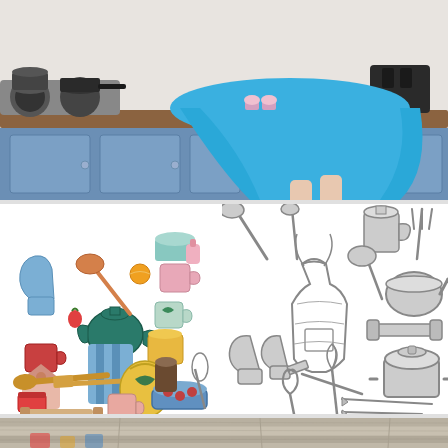[Figure (photo): Woman in a bright blue flared dress and yellow high heels sitting on a blue kitchen counter. Pots, pans, a toaster, and kitchen appliances visible in the background.]
[Figure (illustration): Colorful flat-style illustration of kitchen items and utensils: teapot, cups, mugs, oven mitts, ladle, whisk, spatula, rolling pin, spice jar, apron, baking dish, cutting board with leaves, and other kitchen tools in pastel and bright colors.]
[Figure (illustration): Black and white sketch/drawing of kitchen tools and utensils arranged around a central apron: spoons, ladle, saucepan, frying pan, rolling pin, whisk, knife set, oven mitts, spatula, and other cooking tools.]
[Figure (photo): Partial photo at the bottom showing a rustic wooden surface (gray weathered wood planks) with some colorful blurred elements.]